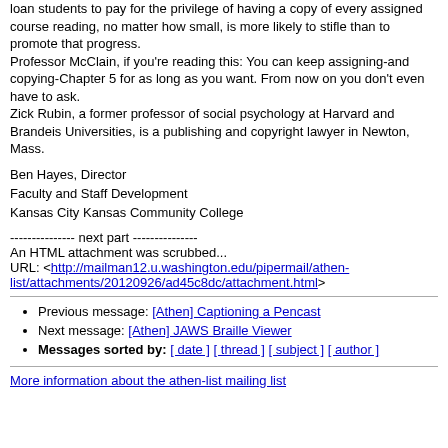loan students to pay for the privilege of having a copy of every assigned course reading, no matter how small, is more likely to stifle than to promote that progress.
Professor McClain, if you're reading this: You can keep assigning-and copying-Chapter 5 for as long as you want. From now on you don't even have to ask.
Zick Rubin, a former professor of social psychology at Harvard and Brandeis Universities, is a publishing and copyright lawyer in Newton, Mass.
Ben Hayes, Director
Faculty and Staff Development
Kansas City Kansas Community College
--------------- next part ---------------
An HTML attachment was scrubbed...
URL: <http://mailman12.u.washington.edu/pipermail/athen-list/attachments/20120926/ad45c8dc/attachment.html>
Previous message: [Athen] Captioning a Pencast
Next message: [Athen] JAWS Braille Viewer
Messages sorted by: [ date ] [ thread ] [ subject ] [ author ]
More information about the athen-list mailing list